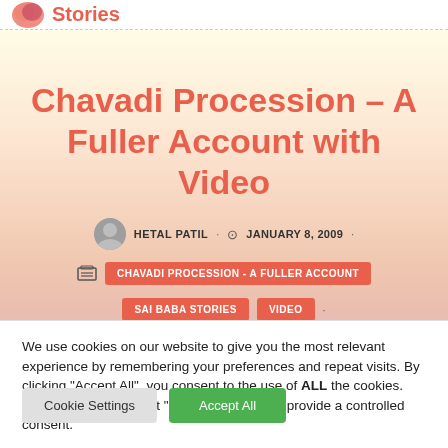Stories
Chavadi Procession – A Fuller Account with Video
HETAL PATIL · JANUARY 8, 2009 ·
CHAVADI PROCESSION - A FULLER ACCOUNT
SAI BABA STORIES  VIDEO ·
We use cookies on our website to give you the most relevant experience by remembering your preferences and repeat visits. By clicking "Accept All", you consent to the use of ALL the cookies. However, you may visit "Cookie Settings" to provide a controlled consent.
Cookie Settings  Accept All